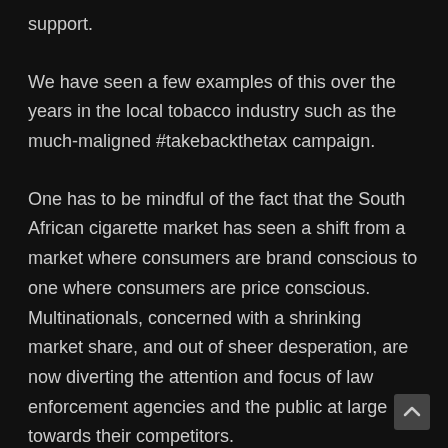support.
We have seen a few examples of this over the years in the local tobacco industry such as the much-maligned #takebackthetax campaign.
One has to be mindful of the fact that the South African cigarette market has seen a shift from a market where consumers are brand conscious to one where consumers are price conscious. Multinationals, concerned with a shrinking market share, and out of sheer desperation, are now diverting the attention and focus of law enforcement agencies and the public at large towards their competitors.
We therefore see this as nothing more than another attempt by multinationals to deflect attention away from their well-documented shenanigans and to once again try to direct law